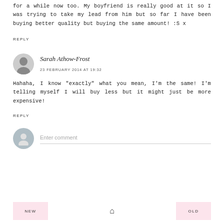for a while now too. My boyfriend is really good at it so I was trying to take my lead from him but so far I have been buying better quality but buying the same amount! :S x
REPLY
Sarah Athow-Frost
23 FEBRUARY 2014 AT 19:32
Hahaha, I know "exactly" what you mean, I'm the same! I'm telling myself I will buy less but it might just be more expensive!
REPLY
Enter comment
NEW
OLD